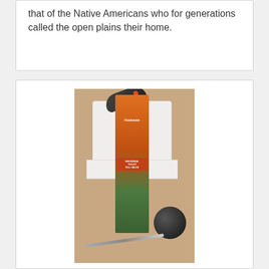that of the Native Americans who for generations called the open plains their home.
[Figure (photo): A Fluidmaster Universal Toilet Fill Valve product box standing upright on a toilet tank lid, with a black rubber float ball and a screwdriver laid in front of it. A knife/utility tool is visible at the top of the box. The toilet is visible in the background.]